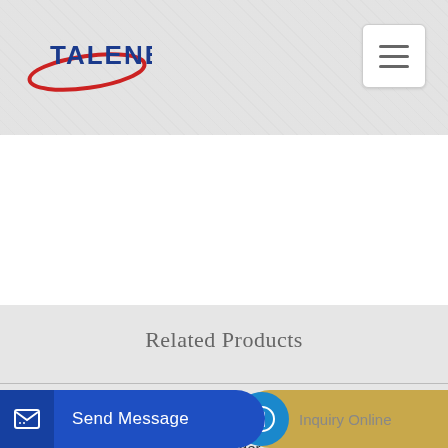[Figure (logo): Talenet company logo with red oval swoosh and blue text TALENET]
Related Products
ready mix concrete plant operator gulf jym stone crusher plant
Concrete pump truck Waitzinger 37R4ST 71262 USD
supply concrete mixer truck price
Send Message
Inquiry Online